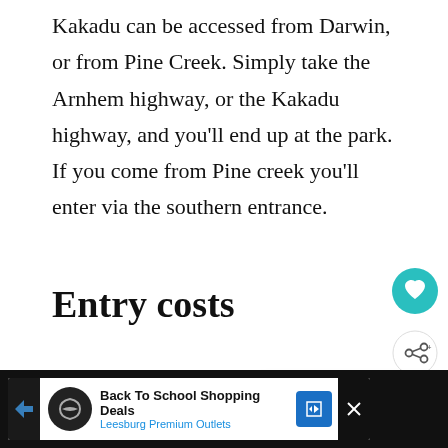Kakadu can be accessed from Darwin, or from Pine Creek. Simply take the Arnhem highway, or the Kakadu highway, and you'll end up at the park. If you come from Pine creek you'll enter via the southern entrance.
Entry costs
If you are a local Northern Territorian, entry is free. If you aren't, you've got to pay the entry fee's. Adults are $25 each, families are $65, kids u...
[Figure (other): Teal circular heart/favourite button and grey circular share button overlaid on the page content]
[Figure (other): What's Next popup showing Maguk Gorge thumbnail with text 'Maguk Gorge; a hike well...']
[Figure (other): Advertisement banner at bottom: Back To School Shopping Deals - Leesburg Premium Outlets, with infinity logo and navigation icon]